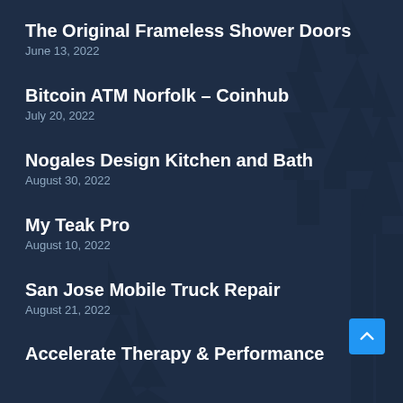The Original Frameless Shower Doors
June 13, 2022
Bitcoin ATM Norfolk – Coinhub
July 20, 2022
Nogales Design Kitchen and Bath
August 30, 2022
My Teak Pro
August 10, 2022
San Jose Mobile Truck Repair
August 21, 2022
Accelerate Therapy & Performance